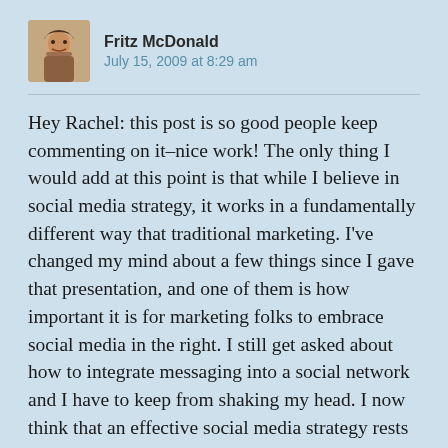[Figure (photo): Avatar photo of Fritz McDonald, a man with facial hair]
Fritz McDonald
July 15, 2009 at 8:29 am
Hey Rachel: this post is so good people keep commenting on it–nice work! The only thing I would add at this point is that while I believe in social media strategy, it works in a fundamentally different way that traditional marketing. I've changed my mind about a few things since I gave that presentation, and one of them is how important it is for marketing folks to embrace social media in the right. I still get asked about how to integrate messaging into a social network and I have to keep from shaking my head. I now think that an effective social media strategy rests on three primary activities: